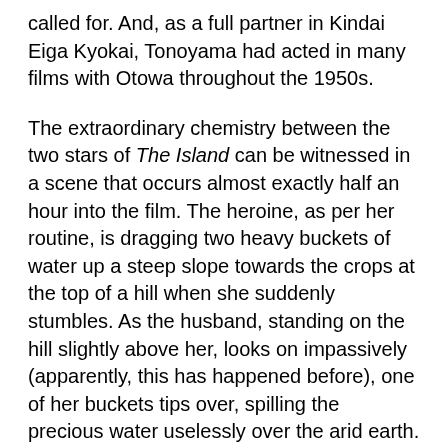called for. And, as a full partner in Kindai Eiga Kyokai, Tonoyama had acted in many films with Otowa throughout the 1950s.
The extraordinary chemistry between the two stars of The Island can be witnessed in a scene that occurs almost exactly half an hour into the film. The heroine, as per her routine, is dragging two heavy buckets of water up a steep slope towards the crops at the top of a hill when she suddenly stumbles. As the husband, standing on the hill slightly above her, looks on impassively (apparently, this has happened before), one of her buckets tips over, spilling the precious water uselessly over the arid earth. The wife carefully secures the other bucket and looks up expectantly towards her husband. He stops what he's doing and walks down the hill... probably, we suppose, to help her. He pauses in front of his wife and suddenly slaps her, hard, knocking her to the ground, an act to which she offers no protest or resistance. She then gets up, and only then does he help her carry the remaining bucket the rest of the way up the